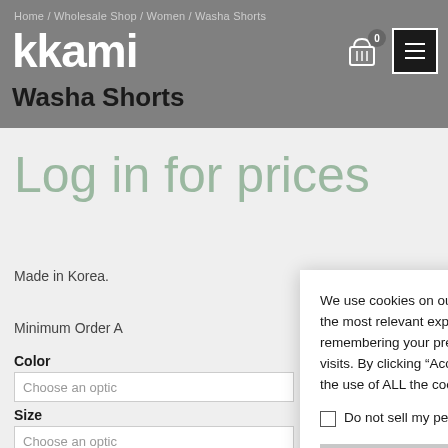kkami
Home / Wholesale Shop / Women / Washa Shorts
Washa Shorts
Log in for prices
Made in Korea.
Minimum Order A
Color
Choose an option
Size
Choose an option
We use cookies on our website to give you the most relevant experience by remembering your preferences and repeat visits. By clicking “Accept All”, you consent to the use of ALL the cookies. Read More
Do not sell my personal information.
Cookie Settings
Accept All